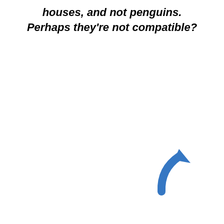houses, and not penguins. Perhaps they're not compatible?
[Figure (illustration): A blue curved arrow pointing upward and to the right, located in the lower right area of the page.]